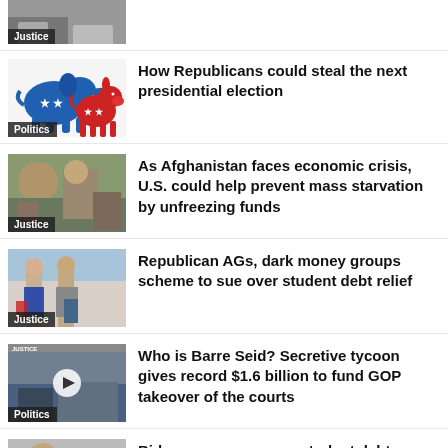[Figure (photo): Partial thumbnail at top with 'Justice' label tag]
[Figure (illustration): Republican elephant and Democrat donkey logos, red white blue, 'Politics' label]
How Republicans could steal the next presidential election
[Figure (photo): Afghan people, 'Justice' label]
As Afghanistan faces economic crisis, U.S. could help prevent mass starvation by unfreezing funds
[Figure (photo): Men in suits outside building, 'Justice' label]
Republican AGs, dark money groups scheme to sue over student debt relief
[Figure (photo): Video thumbnail with play button, 'Politics' label]
Who is Barre Seid? Secretive tycoon gives record $1.6 billion to fund GOP takeover of the courts
[Figure (photo): Partial thumbnail at bottom]
Biden announces new student debt